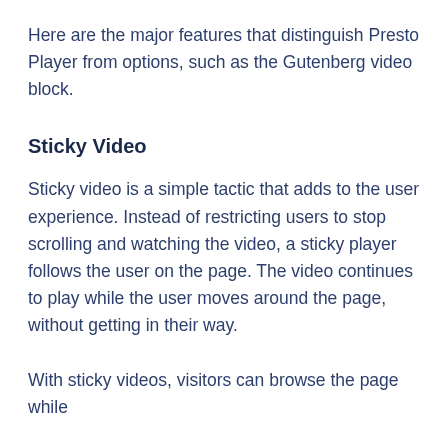Here are the major features that distinguish Presto Player from options, such as the Gutenberg video block.
Sticky Video
Sticky video is a simple tactic that adds to the user experience. Instead of restricting users to stop scrolling and watching the video, a sticky player follows the user on the page. The video continues to play while the user moves around the page, without getting in their way.
With sticky videos, visitors can browse the page while